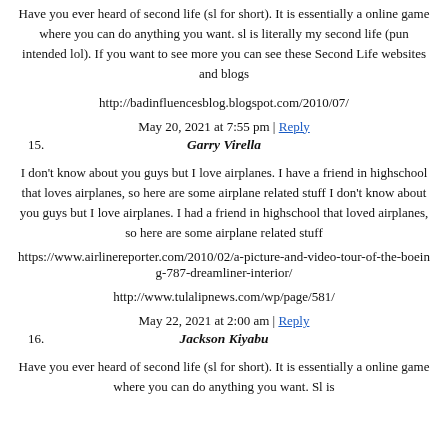Have you ever heard of second life (sl for short). It is essentially a online game where you can do anything you want. sl is literally my second life (pun intended lol). If you want to see more you can see these Second Life websites and blogs
http://badinfluencesblog.blogspot.com/2010/07/
May 20, 2021 at 7:55 pm | Reply
15. Garry Virella
I don't know about you guys but I love airplanes. I have a friend in highschool that loves airplanes, so here are some airplane related stuff I don't know about you guys but I love airplanes. I had a friend in highschool that loved airplanes, so here are some airplane related stuff
https://www.airlinereporter.com/2010/02/a-picture-and-video-tour-of-the-boeing-787-dreamliner-interior/
http://www.tulalipnews.com/wp/page/581/
May 22, 2021 at 2:00 am | Reply
16. Jackson Kiyabu
Have you ever heard of second life (sl for short). It is essentially a online game where you can do anything you want. Sl is